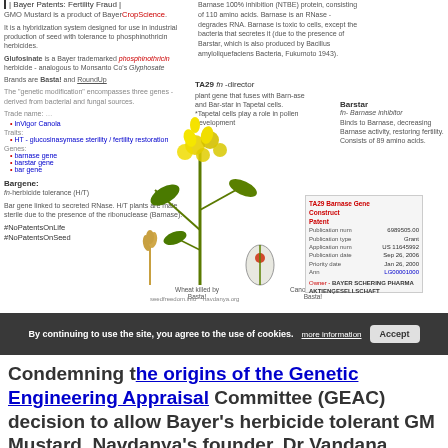| Bayer Patents: Fertility Fraud |
GMO Mustard is a product of BayerCropScience.
It is a hybridization system designed for use in industrial production of seed with tolerance to phosphinothricin herbicides.
Glufosinate is a Bayer trademarked phosphinothricin herbicide - analogous to Monsanto Co's Glyphosate
Brands are Basta! and RoundUp
The 'genetic modification' encompasses three genes - derived from bacterial and fungal sources.
Trade name: InVigor Canola
Traits: HT - glucosinasymase sterility / fertility restoration
Genes: barnase gene, barstar gene, bar gene
Bargene: fn-herbicide tolerance (H/T)
Bar gene linked to secreted RNase. H/T plants are male sterile due to the presence of the ribonuclease (Barnase).
#NoPatentsOnLife #NoPatentsOnSeed
Barnase 100% inhibition (NTBE) protein, consisting of 110 amino acids. Barnase is an RNase - degrades RNA. Barnase is toxic to cells, except the bacteria that secretes it (due to the presence of Barstar, which is also produced by Bacillus amyloliquefaciens Bacteria, Fukumoto 1943).
TA29 fn -director plant gene that fuses with Barn-ase and Bar-star in Tapetal cells. *Tapetal cells play a role in pollen development
Barstar fn- Barnase inhibitor. Binds to Barnase, decreasing Barnase activity, restoring fertility. Consists of 89 amino acids.
[Figure (illustration): Illustration of GMO mustard/canola plant with yellow flowers, wheat plant killed by Basta!, and canola killed by Basta! with oval seed pod cross-section]
TA29 Barnase Gene Construct Patent. Publication num: 6989505.00, Publication type: Grant, Application num: US 11645992, Publication date: Sep 26, 2006, Priority date: Jan 26, 2000, Ann: LG00001000. Owner: BAYER SCHERING PHARMA AKTIENGESELLSCHAFT
Wheat killed by Basta!
Canola killed by Basta!
seedfreedom.info  navdanya.org
[Figure (screenshot): Cookie consent banner with text: By continuing to use the site, you agree to the use of cookies. With 'more information' and 'Accept' buttons.]
Condemning the origins of the Genetic Engineering Appraisal Committee (GEAC) decision to allow Bayer's herbicide tolerant GM Mustard, Navdanya's founder, Dr Vandana Shiva, scientist